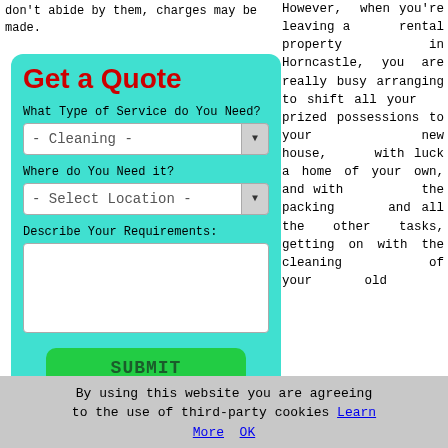don't abide by them, charges may be made.
[Figure (screenshot): Get a Quote web form widget with cyan/teal background, containing title 'Get a Quote' in red bold, dropdown for 'What Type of Service do You Need?' showing '- Cleaning -', dropdown for 'Where do You Need it?' showing '- Select Location -', a textarea for 'Describe Your Requirements:', and a green SUBMIT button.]
However, when you're leaving a rental property in Horncastle, you are really busy arranging to shift all your prized possessions to your new house, with luck a home of your own, and with the packing and all the other tasks, getting on with the cleaning of your old
By using this website you are agreeing to the use of third-party cookies Learn More  OK